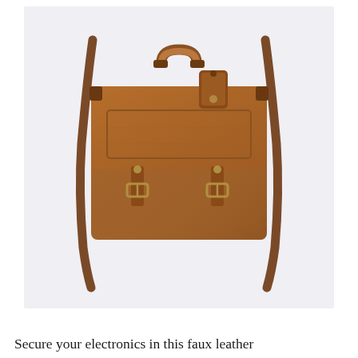[Figure (photo): A tan/cognac brown faux leather messenger briefcase bag with a top handle, two front buckle straps with gold-tone hardware, a small luggage tag attached near the top, and a long adjustable shoulder strap. The bag is photographed against a light lavender-grey background.]
Secure your electronics in this faux leather